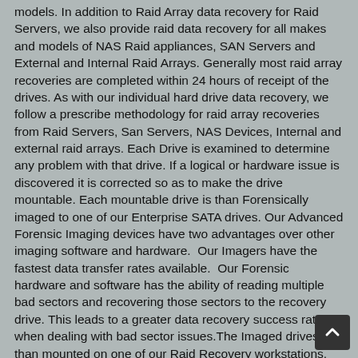models.  In addition to Raid Array data recovery for Raid Servers, we also provide raid data recovery for all makes and models of NAS Raid appliances, SAN Servers and External and Internal Raid Arrays.  Generally most raid array recoveries are completed within 24 hours of receipt of the drives. As with our individual hard drive data recovery, we follow a prescribe methodology for raid array recoveries from Raid Servers, San Servers, NAS Devices, Internal and external raid arrays. Each Drive is examined to determine any problem with that drive. If a logical or hardware issue is discovered it is corrected so as to make the drive mountable. Each mountable drive is than Forensically imaged to one of our Enterprise SATA drives. Our Advanced Forensic Imaging devices have two advantages over other imaging software and hardware.  Our Imagers have the fastest data transfer rates available.  Our Forensic hardware and software has the ability of reading multiple bad sectors and recovering those sectors to the recovery drive. This leads to a greater data recovery success rate when dealing with bad sector issues.The Imaged drives are than mounted on one of our Raid Recovery workstations, where our engineers will determine the parameters of the raid array, reconstruct and de-strip the array, which is then copied to another drive. Although we do not promote the use of large volume raid arrays, we will recovery any raid array, no matter the size the drives nor the number of drives used in the array. If you are contemplating constructing a large volume array call and talk to one of our engineers to learn the inherent problems and failure rates of large volume raid arrays.Our goal is the complete recovery your data without causing more loss or corruption to the failed drives. We therefore DO NOT  perform data recovery over the Internet nor over a Network.  We WILL NOT